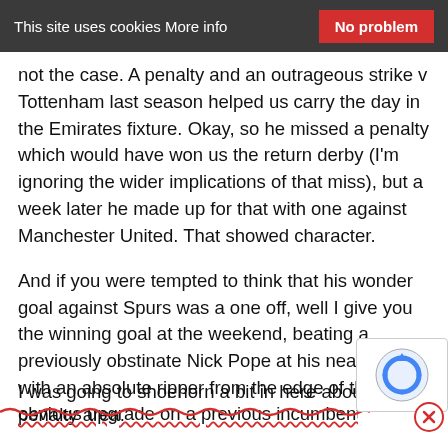This site uses cookies More info   No problem
not the case. A penalty and an outrageous strike v Tottenham last season helped us carry the day in the Emirates fixture. Okay, so he missed a penalty which would have won us the return derby (I'm ignoring the wider implications of that miss), but a week later he made up for that with one against Manchester United. That showed character.
And if you were tempted to think that his wonder goal against Spurs was a one off, well I give you the winning goal at the weekend, beating a previously obstinate Nick Pope at his near post with an absolute ripper from the edge of the penalty area.
I was going to shoehorn a bit in here about Auba being obvious upgrade on a previous incumbent of th